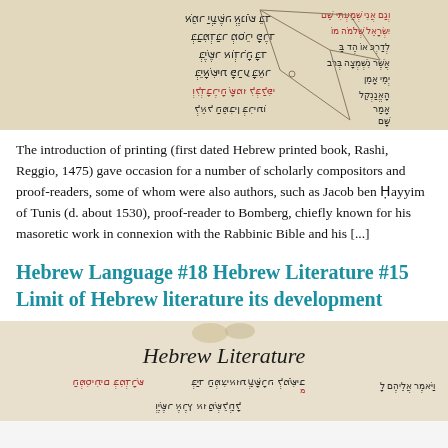[Figure (photo): Manuscript page with Hebrew text in black and red ink, with geometric line drawing on the right side]
The introduction of printing (first dated Hebrew printed book, Rashi, Reggio, 1475) gave occasion for a number of scholarly compositors and proof-readers, some of whom were also authors, such as Jacob ben Ḥayyim of Tunis (d. about 1530), proofreader to Bomberg, chiefly known for his masoretic work in connexion with the Rabbinic Bible and his [...]
Hebrew Language #18 Hebrew Literature #15 Limit of Hebrew literature its development
[Figure (photo): Decorative title page with cursive script reading 'Hebrew Literature' and Hebrew text below with manuscript illustration]